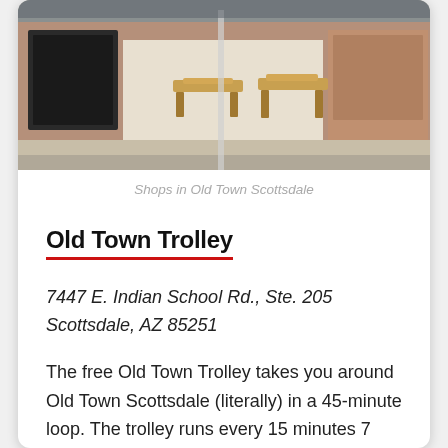[Figure (photo): Photograph of shops in Old Town Scottsdale showing storefronts with wooden benches and a brick building facade]
Shops in Old Town Scottsdale
Old Town Trolley
7447 E. Indian School Rd., Ste. 205
Scottsdale, AZ 85251
The free Old Town Trolley takes you around Old Town Scottsdale (literally) in a 45-minute loop. The trolley runs every 15 minutes 7 days a week from 10:00am to